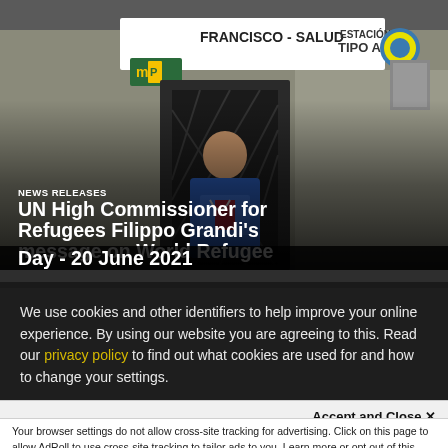[Figure (photo): A man wearing a blue superhero-style shirt with a stethoscope stands in a doorway of a building with a sign reading 'FRANCISCO - SALUD TIPO A' and Ministry of Public Health logos (Ecuador).]
NEWS RELEASES
UN High Commissioner for Refugees Filippo Grandi's message on World Refugee Day - 20 June 2021
We use cookies and other identifiers to help improve your online experience. By using our website you are agreeing to this. Read our privacy policy to find out what cookies are used for and how to change your settings.
Accept and Close ✕
Your browser settings do not allow cross-site tracking for advertising. Click on this page to allow AdRoll to use cross-site tracking to tailor ads to you. Learn more or opt out of this AdRoll tracking by clicking here. This message only appears once.